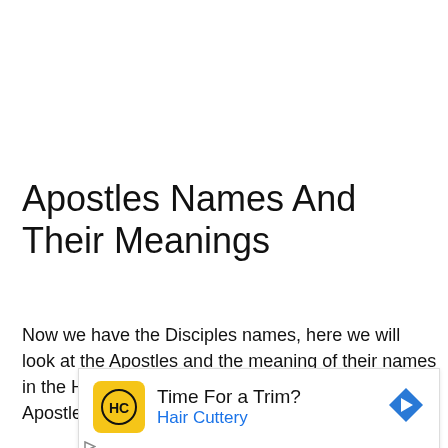Apostles Names And Their Meanings
Now we have the Disciples names, here we will look at the Apostles and the meaning of their names in the Hebrew language, some also say the Apostles Aramaic names.
[Figure (other): Advertisement banner for Hair Cuttery: 'Time For a Trim?' with Hair Cuttery logo (HC in yellow circle), blue 'Hair Cuttery' text, and a blue diamond navigation arrow icon.]